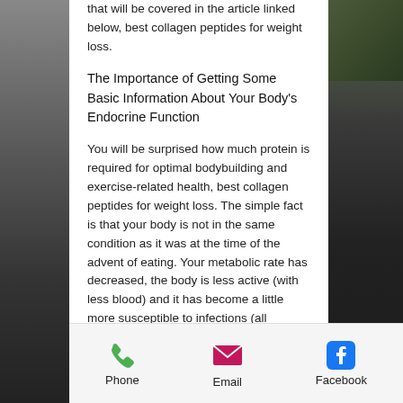that will be covered in the article linked below, best collagen peptides for weight loss.
The Importance of Getting Some Basic Information About Your Body's Endocrine Function
You will be surprised how much protein is required for optimal bodybuilding and exercise-related health, best collagen peptides for weight loss. The simple fact is that your body is not in the same condition as it was at the time of the advent of eating. Your metabolic rate has decreased, the body is less active (with less blood) and it has become a little more susceptible to infections (all
Phone   Email   Facebook